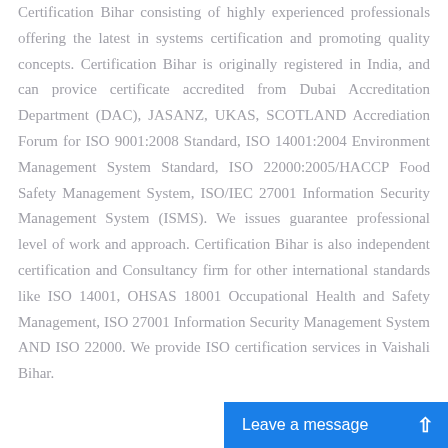Certification Bihar consisting of highly experienced professionals offering the latest in systems certification and promoting quality concepts. Certification Bihar is originally registered in India, and can provice certificate accredited from Dubai Accreditation Department (DAC), JASANZ, UKAS, SCOTLAND Accrediation Forum for ISO 9001:2008 Standard, ISO 14001:2004 Environment Management System Standard, ISO 22000:2005/HACCP Food Safety Management System, ISO/IEC 27001 Information Security Management System (ISMS). We issues guarantee professional level of work and approach. Certification Bihar is also independent certification and Consultancy firm for other international standards like ISO 14001, OHSAS 18001 Occupational Health and Safety Management, ISO 27001 Information Security Management System AND ISO 22000. We provide ISO certification services in Vaishali Bihar.
Leave a message